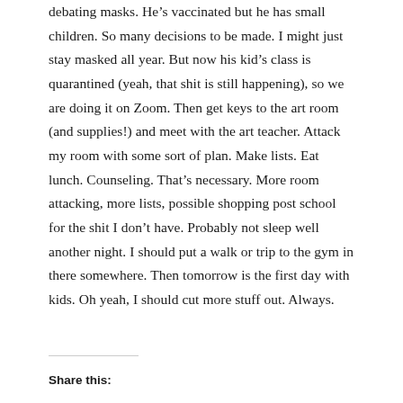debating masks. He's vaccinated but he has small children. So many decisions to be made. I might just stay masked all year. But now his kid's class is quarantined (yeah, that shit is still happening), so we are doing it on Zoom. Then get keys to the art room (and supplies!) and meet with the art teacher. Attack my room with some sort of plan. Make lists. Eat lunch. Counseling. That's necessary. More room attacking, more lists, possible shopping post school for the shit I don't have. Probably not sleep well another night. I should put a walk or trip to the gym in there somewhere. Then tomorrow is the first day with kids. Oh yeah, I should cut more stuff out. Always.
Share this: